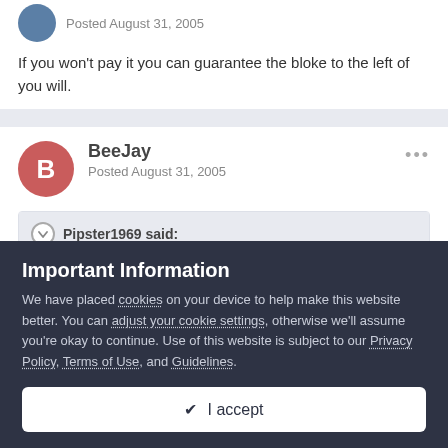Posted August 31, 2005
If you won't pay it you can guarantee the bloke to the left of you will.
BeeJay
Posted August 31, 2005
Pipster1969 said:
Important Information
We have placed cookies on your device to help make this website better. You can adjust your cookie settings, otherwise we'll assume you're okay to continue. Use of this website is subject to our Privacy Policy, Terms of Use, and Guidelines.
✔ I accept